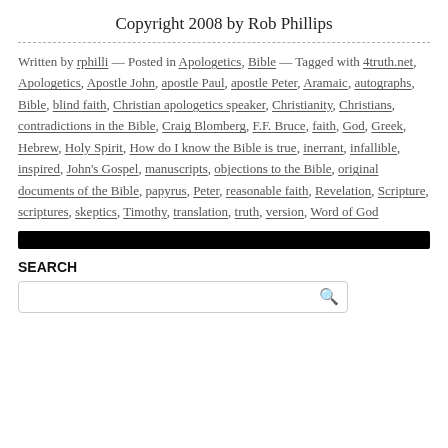Copyright 2008 by Rob Phillips
Written by rphilli — Posted in Apologetics, Bible — Tagged with 4truth.net, Apologetics, Apostle John, apostle Paul, apostle Peter, Aramaic, autographs, Bible, blind faith, Christian apologetics speaker, Christianity, Christians, contradictions in the Bible, Craig Blomberg, F.F. Bruce, faith, God, Greek, Hebrew, Holy Spirit, How do I know the Bible is true, inerrant, infallible, inspired, John's Gospel, manuscripts, objections to the Bible, original documents of the Bible, papyrus, Peter, reasonable faith, Revelation, Scripture, scriptures, skeptics, Timothy, translation, truth, version, Word of God
[Figure (other): Black horizontal bar/banner]
SEARCH
Search input box